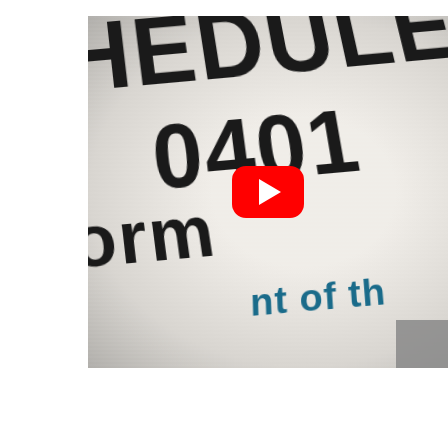[Figure (screenshot): Close-up photo of a government tax document (IRS Schedule form 0401) shown as a YouTube video thumbnail with red play button overlay. Visible text fragments: 'HEDULE', '0401', 'orm', 'nt of th' printed in large dark serif letters on white textured paper. A small thumbnail icon is visible in the bottom-right corner of the video frame.]